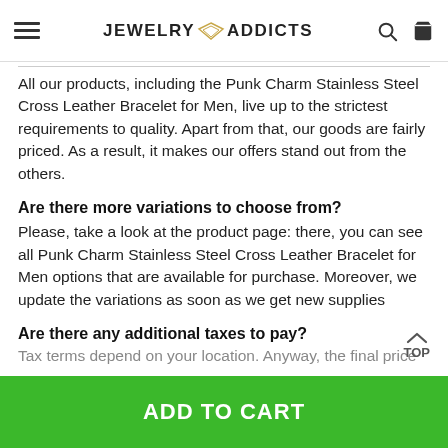JEWELRY ADDICTS
All our products, including the Punk Charm Stainless Steel Cross Leather Bracelet for Men, live up to the strictest requirements to quality. Apart from that, our goods are fairly priced. As a result, it makes our offers stand out from the others.
Are there more variations to choose from?
Please, take a look at the product page: there, you can see all Punk Charm Stainless Steel Cross Leather Bracelet for Men options that are available for purchase. Moreover, we update the variations as soon as we get new supplies
Are there any additional taxes to pay?
Tax terms depend on your location. Anyway, the fina price
ADD TO CART